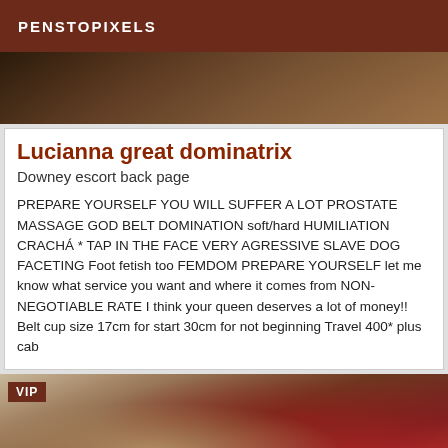PENSTOPIXELS
[Figure (photo): Partial photo showing a person, cropped at top]
Lucianna great dominatrix
Downey escort back page
PREPARE YOURSELF YOU WILL SUFFER A LOT PROSTATE MASSAGE GOD BELT DOMINATION soft/hard HUMILIATION CRACHÁ * TAP IN THE FACE VERY AGRESSIVE SLAVE DOG FACETING Foot fetish too FEMDOM PREPARE YOURSELF let me know what service you want and where it comes from NON-NEGOTIABLE RATE I think your queen deserves a lot of money!! Belt cup size 17cm for start 30cm for not beginning Travel 400* plus cab
[Figure (photo): Photo showing person in red lingerie with VIP badge overlay]